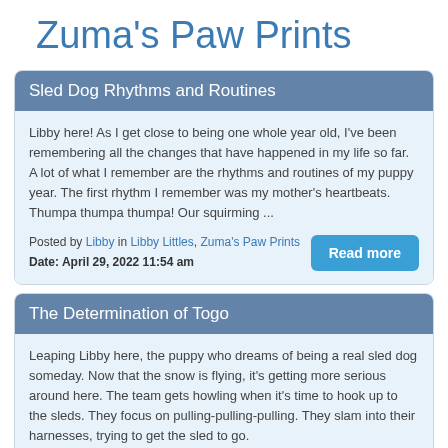Zuma's Paw Prints
Sled Dog Rhythms and Routines
Libby here!  As I get close to being one whole year old, I've been remembering all the changes that have happened in my life so far.  A lot of what I remember are the rhythms and routines of my puppy year.  The first rhythm I remember was my mother's heartbeats.  Thumpa thumpa thumpa!  Our squirming ...
Posted by Libby in Libby Littles, Zuma's Paw Prints
Date: April 29, 2022 11:54 am
The Determination of Togo
Leaping Libby here, the puppy who dreams of being a real sled dog someday.   Now that the snow is flying, it's getting more serious around here. The team gets howling when it's time to hook up to the sleds. They focus on pulling-pulling-pulling.  They slam into their harnesses, trying to get the sled to go.